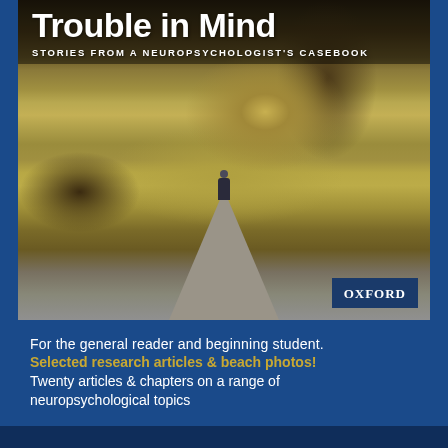[Figure (photo): Book cover of 'Trouble in Mind: Stories from a Neuropsychologist's Casebook' published by Oxford. Shows a person walking along a wooden boardwalk through a golden marsh landscape. The title appears in large white bold text at the top, with the subtitle below it. An Oxford publisher badge appears in the bottom right corner of the image.]
For the general reader and beginning student.
Selected research articles & beach photos!
Twenty articles & chapters on a range of neuropsychological topics